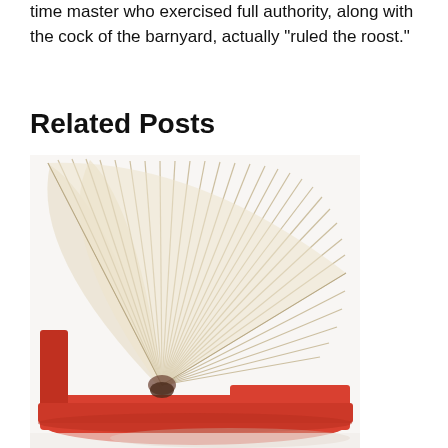time master who exercised full authority, along with the cock of the barnyard, actually “ruled the roost.”
Related Posts
[Figure (photo): A hardcover book with a red cover lying flat and opened wide so the pages fan out in a semicircle, viewed from the spine end. The pages are cream/beige colored and the cover is bright red/orange-red.]